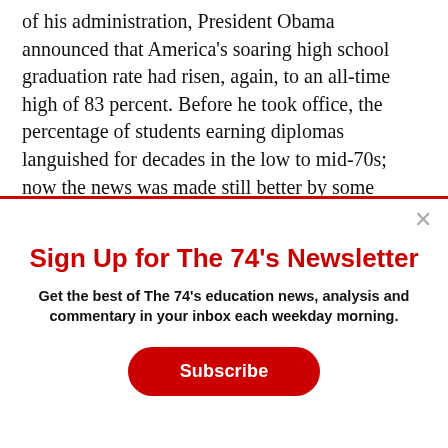of his administration, President Obama announced that America's soaring high school graduation rate had risen, again, to an all-time high of 83 percent. Before he took office, the percentage of students earning diplomas languished for decades in the low to mid-70s; now the news was made still better by some
Sign Up for The 74's Newsletter
Get the best of The 74's education news, analysis and commentary in your inbox each weekday morning.
Subscribe